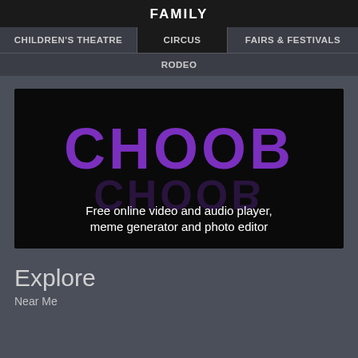FAMILY
CHILDREN'S THEATRE | CIRCUS | FAIRS & FESTIVALS
RODEO
[Figure (logo): CHOOB advertisement banner with purple bold text 'CHOOB' and its reflection, with tagline 'Free online video and audio player, meme generator and photo editor' on black background]
Explore
Near Me